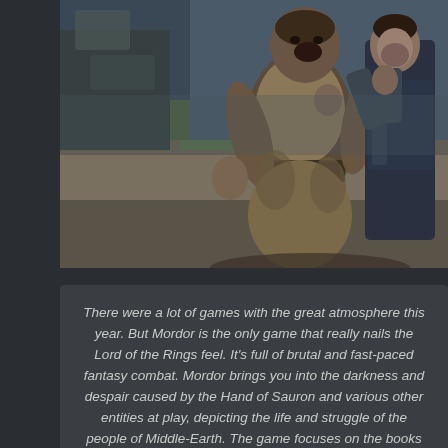[Figure (photo): A video game screenshot showing two large warrior/orc-like characters in a rocky outdoor environment. One muscular character with bare chest, fur clothing, and a belt is being grabbed from behind by another character in dark armor. The setting appears to be Middle-Earth from Lord of the Rings game Shadow of Mordor.]
There were a lot of games with the great atmosphere this year. But Mordor is the only game that really nails the Lord of the Rings feel. It's full of brutal and fast-paced fantasy combat. Mordor brings you into the darkness and despair caused by the Hand of Sauron and various other entities at play, depicting the life and struggle of the people of Middle-Earth. The game focuses on the books and movies and drags you into the dark nightmare of Mordor.